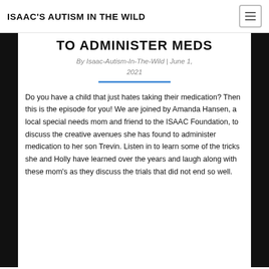ISAAC'S AUTISM IN THE WILD
TO ADMINISTER MEDS
By Isaac-Autism-In-The-Wild | June 1, 2021
Do you have a child that just hates taking their medication? Then this is the episode for you!  We are joined by Amanda Hansen, a local special needs mom and friend to the ISAAC Foundation, to discuss the creative avenues she has found to administer medication to her son Trevin.  Listen in to learn some of the tricks she and Holly have learned over the years and laugh along with these mom's as they discuss the trials that did not end so well.